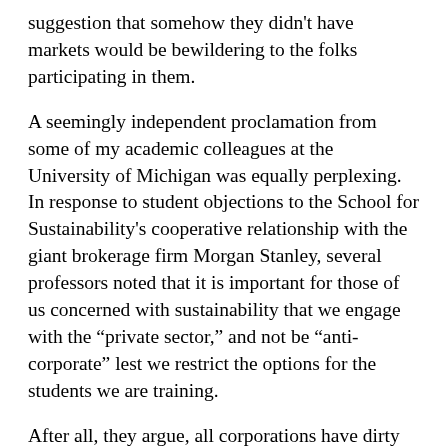suggestion that somehow they didn't have markets would be bewildering to the folks participating in them.
A seemingly independent proclamation from some of my academic colleagues at the University of Michigan was equally perplexing. In response to student objections to the School for Sustainability's cooperative relationship with the giant brokerage firm Morgan Stanley, several professors noted that it is important for those of us concerned with sustainability that we engage with the “private sector,” and not be “anti-corporate” lest we restrict the options for the students we are training.
After all, they argue, all corporations have dirty laundry and funding the Dakota Access or the Keystone XL pipeline, as does Morgan Stanley, may be bad, but other corporations do similar things.
If the farmers I engage with are presented with this